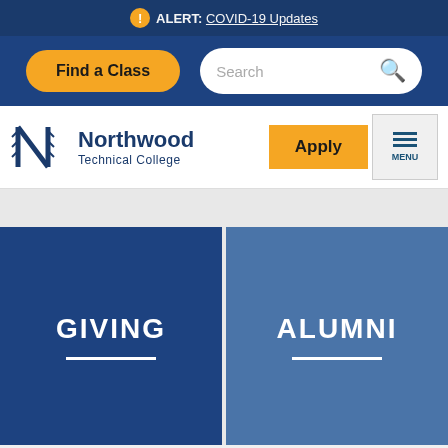ALERT: COVID-19 Updates
[Figure (screenshot): Northwood Technical College website navigation bar with Find a Class button and search box]
[Figure (logo): Northwood Technical College logo with stylized N and text]
GIVING
ALUMNI